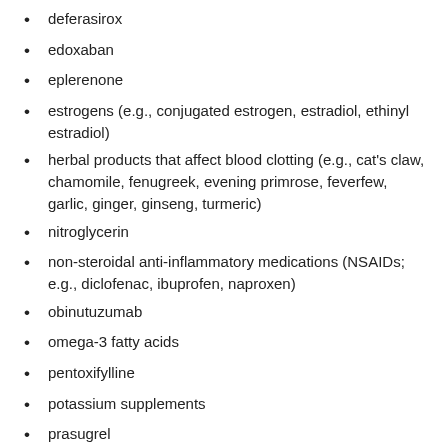deferasirox
edoxaban
eplerenone
estrogens (e.g., conjugated estrogen, estradiol, ethinyl estradiol)
herbal products that affect blood clotting (e.g., cat's claw, chamomile, fenugreek, evening primrose, feverfew, garlic, ginger, ginseng, turmeric)
nitroglycerin
non-steroidal anti-inflammatory medications (NSAIDs; e.g., diclofenac, ibuprofen, naproxen)
obinutuzumab
omega-3 fatty acids
pentoxifylline
potassium supplements
prasugrel